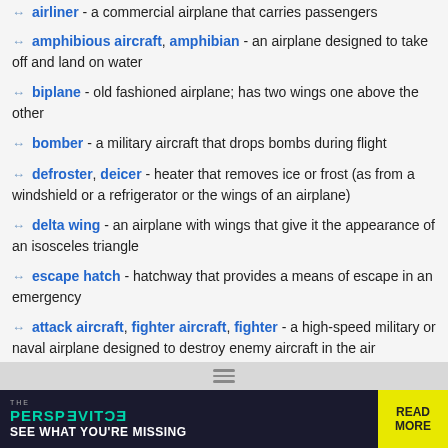airliner - a commercial airplane that carries passengers (partial, cut off at top)
amphibious aircraft, amphibian - an airplane designed to take off and land on water
biplane - old fashioned airplane; has two wings one above the other
bomber - a military aircraft that drops bombs during flight
defroster, deicer - heater that removes ice or frost (as from a windshield or a refrigerator or the wings of an airplane)
delta wing - an airplane with wings that give it the appearance of an isosceles triangle
escape hatch - hatchway that provides a means of escape in an emergency
attack aircraft, fighter aircraft, fighter - a high-speed military or naval airplane designed to destroy enemy aircraft in the air
fuselage - the central body of an airplane that is designed to accommodate the crew and passengers (or cargo)
[Figure (screenshot): Advertisement banner for 'The Perspective' publication with teal/dark background, yellow 'READ MORE' button]